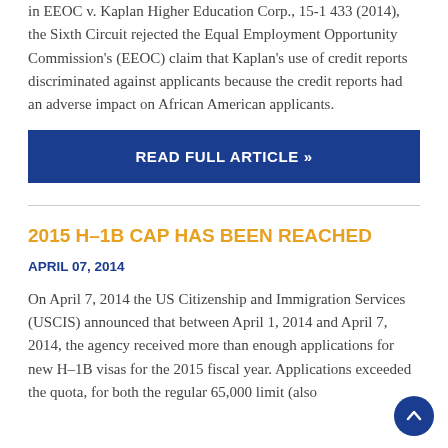in EEOC v. Kaplan Higher Education Corp., 15-1 433 (2014), the Sixth Circuit rejected the Equal Employment Opportunity Commission's (EEOC) claim that Kaplan's use of credit reports discriminated against applicants because the credit reports had an adverse impact on African American applicants.
READ FULL ARTICLE »
2015 H–1B CAP HAS BEEN REACHED
APRIL 07, 2014
On April 7, 2014 the US Citizenship and Immigration Services (USCIS) announced that between April 1, 2014 and April 7, 2014, the agency received more than enough applications for new H–1B visas for the 2015 fiscal year. Applications exceeded the quota, for both the regular 65,000 limit (also